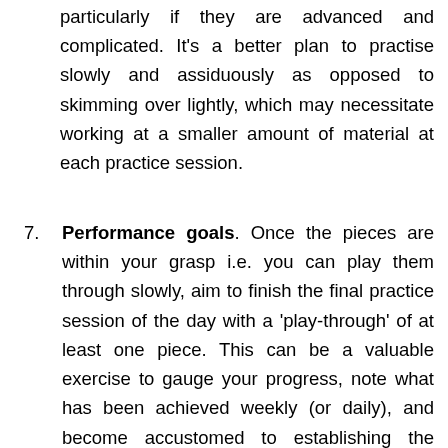particularly if they are advanced and complicated. It's a better plan to practise slowly and assiduously as opposed to skimming over lightly, which may necessitate working at a smaller amount of material at each practice session.
7. Performance goals. Once the pieces are within your grasp i.e. you can play them through slowly, aim to finish the final practice session of the day with a 'play-through' of at least one piece. This can be a valuable exercise to gauge your progress, note what has been achieved weekly (or daily), and become accustomed to establishing the mental thought process required to think from beginning